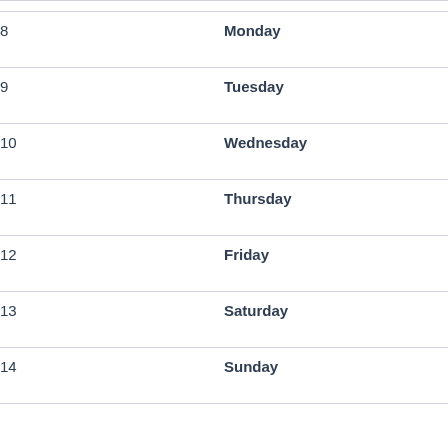| 8 | Monday |
| 9 | Tuesday |
| 10 | Wednesday |
| 11 | Thursday |
| 12 | Friday |
| 13 | Saturday |
| 14 | Sunday |